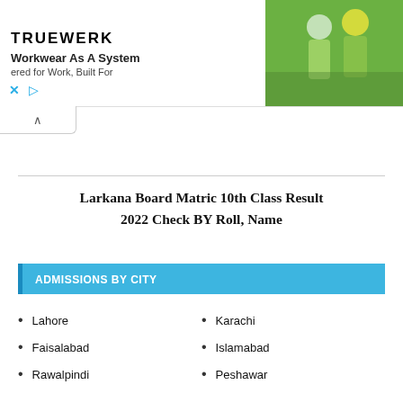[Figure (photo): TRUEWERK advertisement banner showing two workers in green high-visibility workwear. Text reads 'Workwear As A System', 'ered for Work, Built For']
Larkana Board Matric 10th Class Result 2022 Check BY Roll, Name
ADMISSIONS BY CITY
Lahore
Faisalabad
Rawalpindi
Karachi
Islamabad
Peshawar